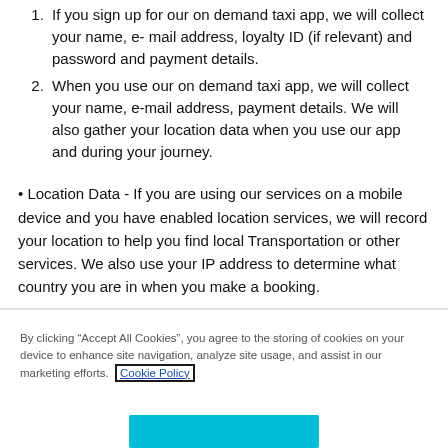If you sign up for our on demand taxi app, we will collect your name, e- mail address, loyalty ID (if relevant) and password and payment details.
When you use our on demand taxi app, we will collect your name, e-mail address, payment details. We will also gather your location data when you use our app and during your journey.
• Location Data - If you are using our services on a mobile device and you have enabled location services, we will record your location to help you find local Transportation or other services. We also use your IP address to determine what country you are in when you make a booking.
By clicking “Accept All Cookies”, you agree to the storing of cookies on your device to enhance site navigation, analyze site usage, and assist in our marketing efforts. Cookie Policy